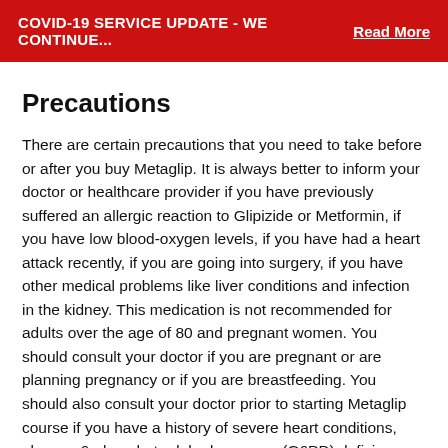COVID-19 SERVICE UPDATE - WE CONTINUE...    Read More
Precautions
There are certain precautions that you need to take before or after you buy Metaglip. It is always better to inform your doctor or healthcare provider if you have previously suffered an allergic reaction to Glipizide or Metformin, if you have low blood-oxygen levels, if you have had a heart attack recently, if you are going into surgery, if you have other medical problems like liver conditions and infection in the kidney. This medication is not recommended for adults over the age of 80 and pregnant women. You should consult your doctor if you are pregnant or are planning pregnancy or if you are breastfeeding. You should also consult your doctor prior to starting Metaglip course if you have a history of severe heart conditions, glucose-6-phosphate dehydrogenase (G6PD) deficiency or low level of blood calcium.
Metaglip Dosage